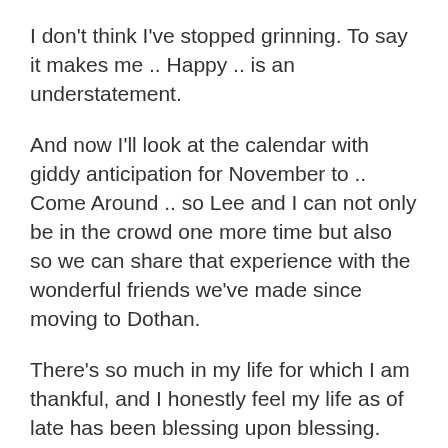I don't think I've stopped grinning. To say it makes me .. Happy .. is an understatement.
And now I'll look at the calendar with giddy anticipation for November to .. Come Around .. so Lee and I can not only be in the crowd one more time but also so we can share that experience with the wonderful friends we've made since moving to Dothan.
There's so much in my life for which I am thankful, and I honestly feel my life as of late has been blessing upon blessing. And now, having the date for this concert on my calendar really is a .. Beautiful Thing.
By Gil Gonzalez in Collection, Faith | August 26, 2019 | 465 Words | 4 Comments